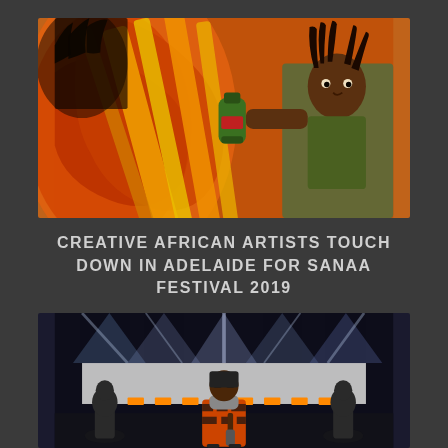[Figure (photo): An African artist holding a green spray paint can, painting a colorful mural with swirling orange, red, and yellow brushstroke patterns. The artist is smiling at the camera.]
CREATIVE AFRICAN ARTISTS TOUCH DOWN IN ADELAIDE FOR SANAA FESTIVAL 2019
[Figure (photo): A performer on stage holding a microphone, wearing an orange and black patterned jacket, with bright stage lights in the background and two statues on either side of the stage.]